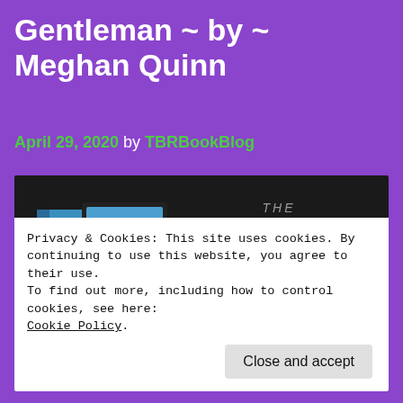Gentleman ~ by ~ Meghan Quinn
April 29, 2020 by TBRBookBlog
[Figure (illustration): Book promotional banner for 'The Modern Gentleman' by Meghan Quinn, showing book covers on left and title text in teal on dark background, overlaid with a cookie consent notice reading: Privacy & Cookies: This site uses cookies. By continuing to use this website, you agree to their use. To find out more, including how to control cookies, see here: Cookie Policy. With a 'Close and accept' button.]
Privacy & Cookies: This site uses cookies. By continuing to use this website, you agree to their use.
To find out more, including how to control cookies, see here:
Cookie Policy.
Close and accept